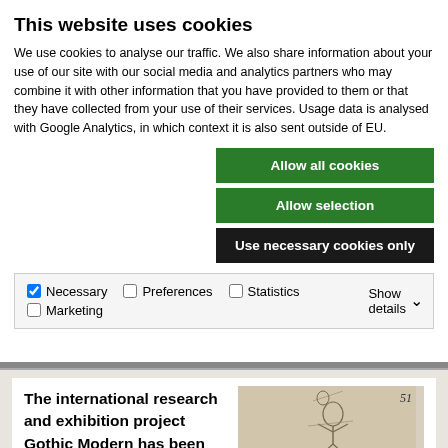This website uses cookies
We use cookies to analyse our traffic. We also share information about your use of our site with our social media and analytics partners who may combine it with other information that you have provided to them or that they have collected from your use of their services. Usage data is analysed with Google Analytics, in which context it is also sent outside of EU.
Allow all cookies
Allow selection
Use necessary cookies only
Necessary  Preferences  Statistics  Marketing  Show details
The international research and exhibition project Gothic Modern has been launched by the Finnish National